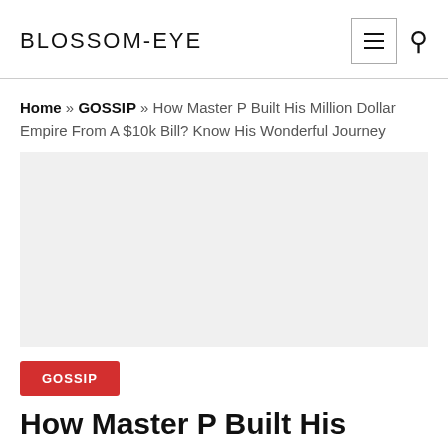BLOSSOM-EYE
Home » GOSSIP » How Master P Built His Million Dollar Empire From A $10k Bill? Know His Wonderful Journey
[Figure (photo): Large image placeholder area, light gray background]
GOSSIP
How Master P Built His Million Dollar Empire From A $10k Bill? Know His